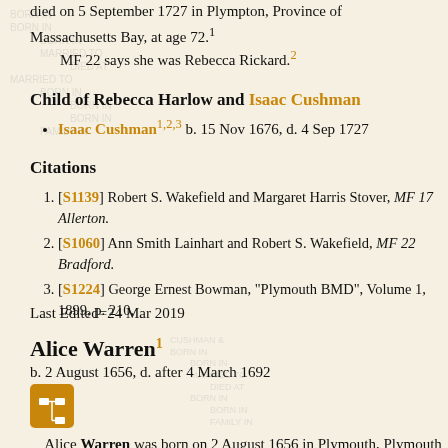died on 5 September 1727 in Plympton, Province of Massachusetts Bay, at age 72.1
MF 22 says she was Rebecca Rickard.2
Child of Rebecca Harlow and Isaac Cushman
Isaac Cushman1,2,3 b. 15 Nov 1676, d. 4 Sep 1727
Citations
[S1139] Robert S. Wakefield and Margaret Harris Stover, MF 17 Allerton.
[S1060] Ann Smith Lainhart and Robert S. Wakefield, MF 22 Bradford.
[S1224] George Ernest Bowman, "Plymouth BMD", Volume 1, 1899, p. 210.
Last Edited=24 Mar 2019
Alice Warren1
b. 2 August 1656, d. after 4 March 1692
[Figure (other): Pedigree chart icon button (gold square with hierarchy symbol)]
Alice Warren was born on 2 August 1656 in Plymouth, Plymouth Colony, now Plymouth County, Massachusetts.1 She was the daughter of Nathaniel Warren and Sarah Walker.1 Alice Warren married Thomas Gildon on 23 December 1674 in...